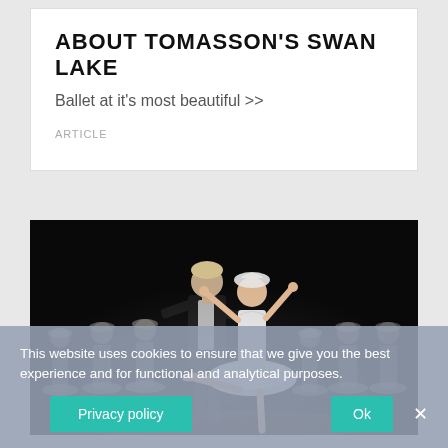ABOUT TOMASSON'S SWAN LAKE
Ballet at it's most beautiful >>
ARTICLE
[Figure (photo): Ballet performance photo showing two principal dancers — a male dancer in black holding a female dancer in white tutu — performing a lift, with corps de ballet dancers in white tutus in the background on a dark stage.]
This website uses cookies to ensure that we give you the best experience and for functional and analytical purposes.
Ok
Privacy policy